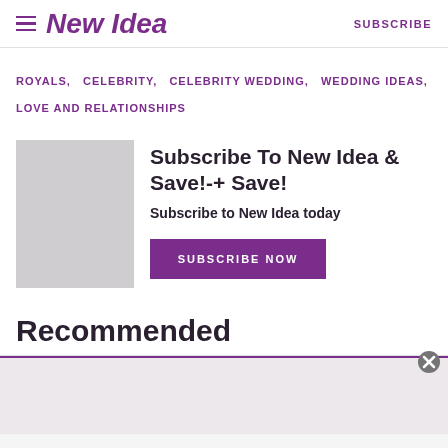New Idea | SUBSCRIBE
ROYALS, CELEBRITY, CELEBRITY WEDDING, WEDDING IDEAS, LOVE AND RELATIONSHIPS
Subscribe To New Idea & Save!-+ Save!
Subscribe to New Idea today
SUBSCRIBE NOW
Recommended